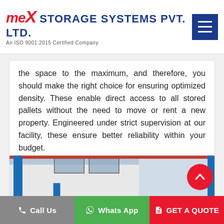MEX STORAGE SYSTEMS PVT. LTD. An ISO 9001:2015 Certified Company
the space to the maximum, and therefore, you should make the right choice for ensuring optimized density. These enable direct access to all stored pallets without the need to move or rent a new property. Engineered under strict supervision at our facility, these ensure better reliability within your budget.
[Figure (photo): Warehouse mezzanine floor storage system with blue steel columns, orange pallet racking, and a large white suspended ceiling/floor structure, industrial storage facility interior.]
Call Us | Whats App | GET A QUOTE